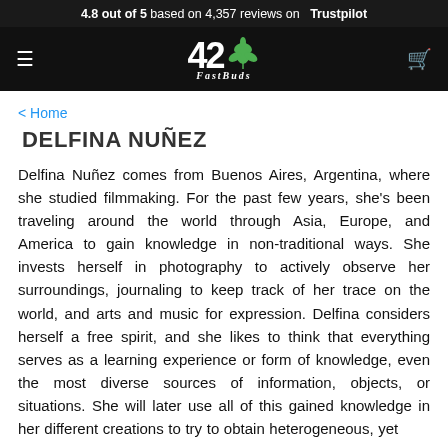4.8 out of 5 based on 4,357 reviews on Trustpilot
[Figure (logo): 42 FastBuds cannabis seed company logo with stylized number 42, cannabis leaf, and cursive FastBuds text on black background]
< Home
DELFINA NUÑEZ
Delfina Nuñez comes from Buenos Aires, Argentina, where she studied filmmaking. For the past few years, she's been traveling around the world through Asia, Europe, and America to gain knowledge in non-traditional ways. She invests herself in photography to actively observe her surroundings, journaling to keep track of her trace on the world, and arts and music for expression. Delfina considers herself a free spirit, and she likes to think that everything serves as a learning experience or form of knowledge, even the most diverse sources of information, objects, or situations. She will later use all of this gained knowledge in her different creations to try to obtain heterogeneous, yet the most accurate possible documentation.